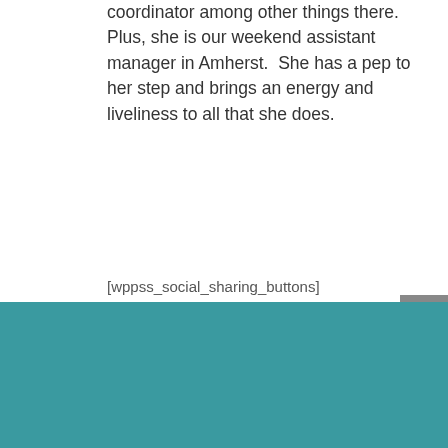coordinator among other things there. Plus, she is our weekend assistant manager in Amherst.  She has a pep to her step and brings an energy and liveliness to all that she does.
[wppss_social_sharing_buttons]
MANCHESTER CAFE
1000 Elm St
Manchester, NH 03101